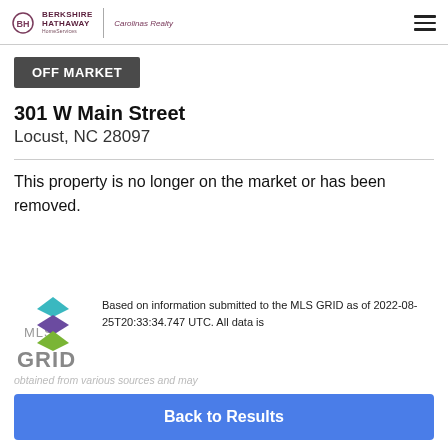BERKSHIRE HATHAWAY HomeServices | Carolinas Realty
OFF MARKET
301 W Main Street
Locust, NC 28097
This property is no longer on the market or has been removed.
[Figure (logo): MLS GRID logo with teal, purple, and green stacked diamond shapes]
Based on information submitted to the MLS GRID as of 2022-08-25T20:33:34.747 UTC. All data is obtained from various sources and may
Back to Results